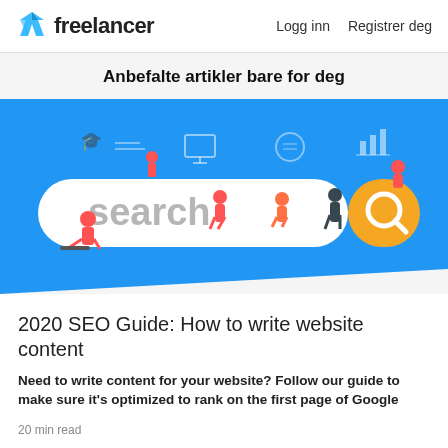Freelancer  Logg inn  Registrer deg
Anbefalte artikler bare for deg
[Figure (illustration): A blue banner with a large search bar containing the word 'search' in gray text and a yellow search button with a magnifying glass icon. Various illustrated people interact with the search bar, and digital icons float in the background.]
2020 SEO Guide: How to write website content
Need to write content for your website? Follow our guide to make sure it's optimized to rank on the first page of Google
20 min read